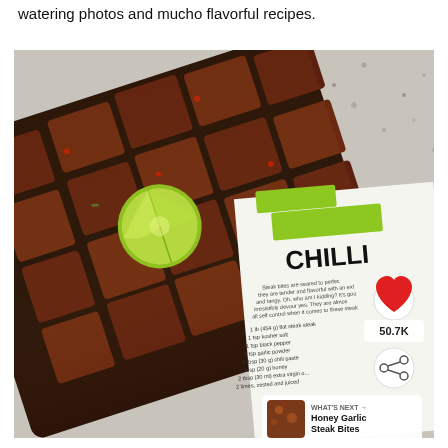watering photos and mucho flavorful recipes.
[Figure (photo): Open cookbook showing a recipe page titled 'CHILLI...' with an image of glazed steak bites garnished with a lime wedge on a dark tray, set on a speckled stone surface. The recipe page shows ingredients including skirt steak, kosher salt, black pepper, garlic powder, chili paste, honey, extra virgin olive oil, lime zested and juiced. A heart/like button showing 50.7K and a share button are visible on the right side.]
WHAT'S NEXT → Honey Garlic Steak Bites